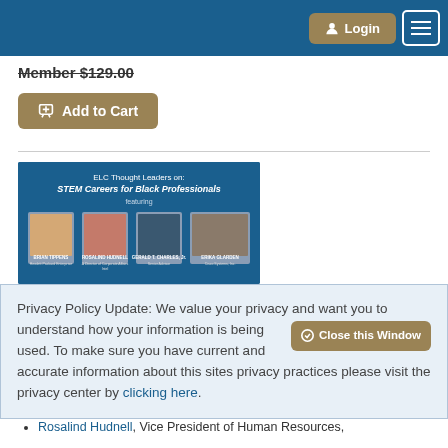Login  [menu]
Member $129.00
Add to Cart
[Figure (illustration): ELC Thought Leaders on: STEM Careers for Black Professionals featuring Brian Tippens, Rosalind Hudnell, Gerald T. Charles Jr., Erica Glarden]
Preview Available
A...
Privacy Policy Update: We value your privacy and want you to understand how your information is being used. To make sure you have current and accurate information about this sites privacy practices please visit the privacy center by clicking here.
Rosalind Hudnell, Vice President of Human Resources,